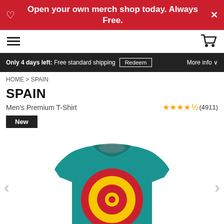Open your own merch shop today. Always Free.
[Figure (screenshot): Navigation bar with hamburger menu on left and shopping cart icon on right]
Only 4 days left: Free standard shipping  Redeem  More info
HOME > SPAIN
SPAIN
Men's Premium T-Shirt  ★★★★½ (4911)
New
[Figure (photo): Teal/teal-green men's premium t-shirt with Spain roundel design - concentric circles in red, gold/yellow and red on the chest area]